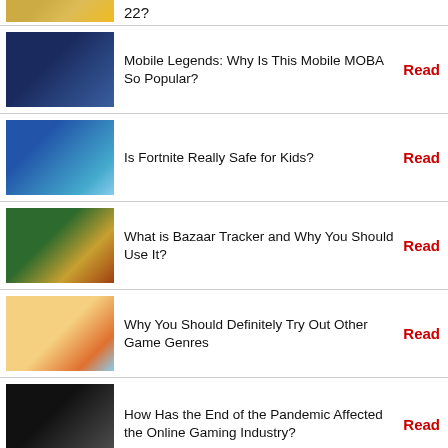22?
Mobile Legends: Why Is This Mobile MOBA So Popular?
Is Fortnite Really Safe for Kids?
What is Bazaar Tracker and Why You Should Use It?
Why You Should Definitely Try Out Other Game Genres
How Has the End of the Pandemic Affected the Online Gaming Industry?
Ninja is Now a Champion in RAID: Shadow Legends
Mobile Legends Bang Bang: Your Legend Begins Now!
How to Pick The Best Online